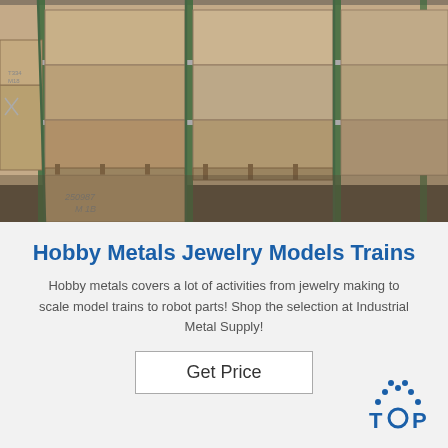[Figure (photo): Warehouse with wooden crates/boxes stacked on metal racks with green support poles, photographed from inside]
Hobby Metals Jewelry Models Trains
Hobby metals covers a lot of activities from jewelry making to scale model trains to robot parts! Shop the selection at Industrial Metal Supply!
Get Price
[Figure (logo): TOP logo with dotted arc above letters T O P in blue]